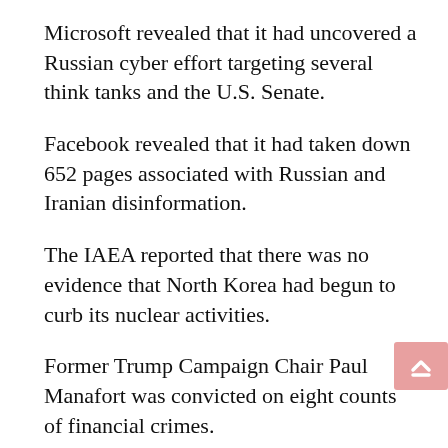Microsoft revealed that it had uncovered a Russian cyber effort targeting several think tanks and the U.S. Senate.
Facebook revealed that it had taken down 652 pages associated with Russian and Iranian disinformation.
The IAEA reported that there was no evidence that North Korea had begun to curb its nuclear activities.
Former Trump Campaign Chair Paul Manafort was convicted on eight counts of financial crimes.
Longtime Trump lawyer Michael Cohen pleaded guilty to eight counts of tax- and campaign finance-related charges, while implicating President Trump on the campaign finance charges.